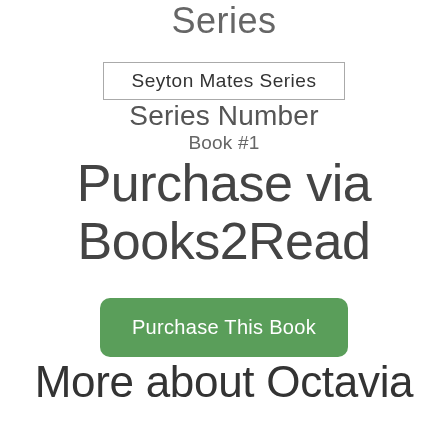Series
Seyton Mates Series
Series Number
Book #1
Purchase via Books2Read
Purchase This Book
More about Octavia